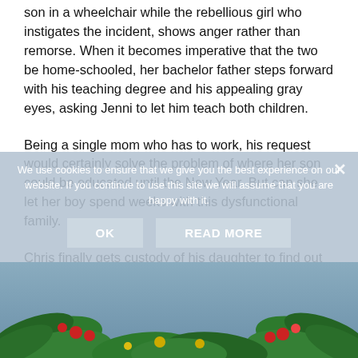son in a wheelchair while the rebellious girl who instigates the incident, shows anger rather than remorse. When it becomes imperative that the two be home-schooled, her bachelor father steps forward with his teaching degree and his appealing gray eyes, asking Jenni to let him teach both children.
Being a single mom who has to work, his request would certainly solve the problem of where her son could be educated until the New Year. But can she let her boy spend weeks with this dysfunctional family.
Chris finally gets custody of his daughter to find out that she hates the very sight of him. How can a man break through those barriers? Could the boy help – him and his new puppy… and the smart, beautiful woman he calls Mom.
We use cookies to ensure that we give you the best experience on our website. If you continue to use this site we will assume that you are happy with it.